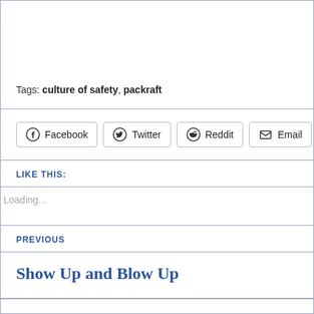Tags: culture of safety, packraft
Facebook  Twitter  Reddit  Email
LIKE THIS:
Loading...
PREVIOUS
Show Up and Blow Up